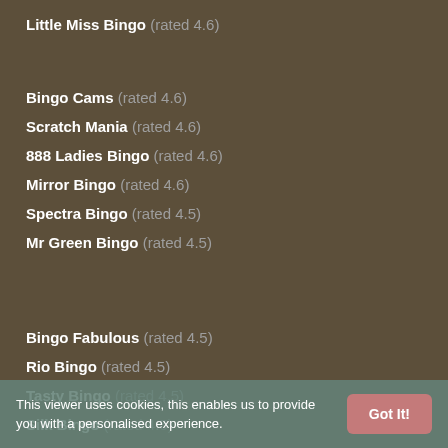Little Miss Bingo (rated 4.6)
Bingo Cams (rated 4.6)
Scratch Mania (rated 4.6)
888 Ladies Bingo (rated 4.6)
Mirror Bingo (rated 4.6)
Spectra Bingo (rated 4.5)
Mr Green Bingo (rated 4.5)
Bingo Fabulous (rated 4.5)
Rio Bingo (rated 4.5)
Tasty Bingo (rated 4.5)
Silk Bingo (rated 4.5)
Posh Bingo (rated 4.5)
Jackpotioy (rated 4.5)
This viewer uses cookies, this enables us to provide you with a personalised experience.